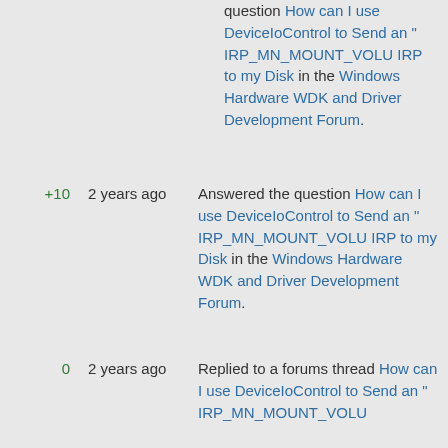question How can I use DeviceIoControl to Send an "IRP_MN_MOUNT_VOLU IRP to my Disk in the Windows Hardware WDK and Driver Development Forum.
+10   2 years ago   Answered the question How can I use DeviceIoControl to Send an "IRP_MN_MOUNT_VOLU IRP to my Disk in the Windows Hardware WDK and Driver Development Forum.
0   2 years ago   Replied to a forums thread How can I use DeviceIoControl to Send an "IRP_MN_MOUNT_VOLU